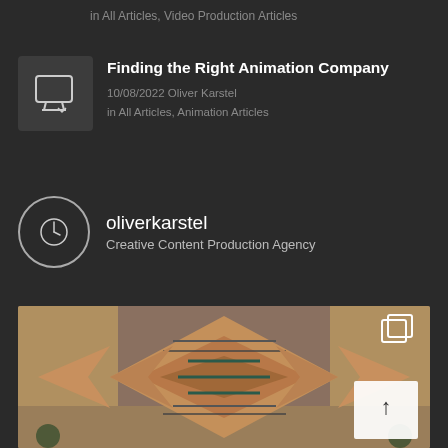in All Articles, Video Production Articles
Finding the Right Animation Company
10/08/2022 Oliver Karstel
in All Articles, Animation Articles
[Figure (screenshot): Small dark thumbnail icon for animation article]
oliverkarstel
Creative Content Production Agency
[Figure (photo): Aerial symmetrical view of a building complex with terracotta rooftops arranged in a geometric kaleidoscope pattern]